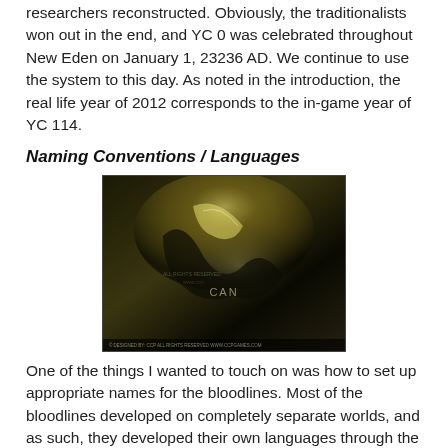researchers reconstructed. Obviously, the traditionalists won out in the end, and YC 0 was celebrated throughout New Eden on January 1, 23236 AD. We continue to use the system to this day. As noted in the introduction, the real life year of 2012 corresponds to the in-game year of YC 114.
Naming Conventions / Languages
[Figure (photo): A dark, stylized sci-fi image with golden and dark tones, showing metallic or liquid surfaces with text overlays. Appears to be EVE Online related artwork.]
One of the things I wanted to touch on was how to set up appropriate names for the bloodlines. Most of the bloodlines developed on completely separate worlds, and as such, they developed their own languages through the Dark Ages, and they continue to use those languages today. Of course, from an in-game perspective, the use of different languages doesn't matter thanks to the development of translation